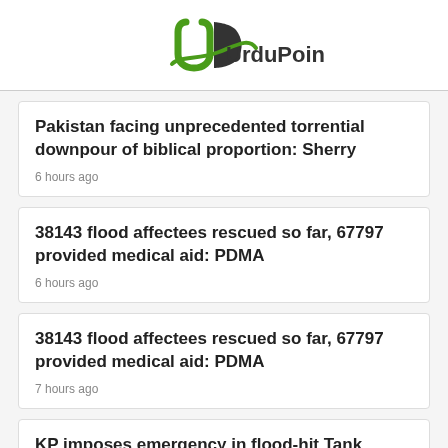UrduPoint
Pakistan facing unprecedented torrential downpour of biblical proportion: Sherry
6 hours ago
38143 flood affectees rescued so far, 67797 provided medical aid: PDMA
6 hours ago
38143 flood affectees rescued so far, 67797 provided medical aid: PDMA
7 hours ago
KP imposes emergency in flood-hit Tank district